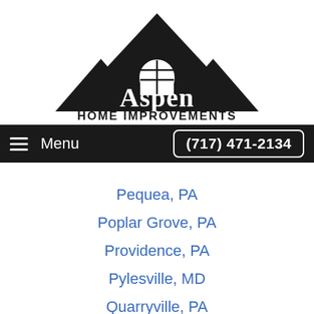[Figure (logo): Aspen Home Improvements logo — black triangle mountain shape with a window arch, text 'Aspen HOME IMPROVEMENTS']
Menu  (717) 471-2134
Pequea, PA
Poplar Grove, PA
Providence, PA
Pylesville, MD
Quarryville, PA
Quentin, PA
Refton, PA
Rheems, PA
Rockrimmin Ridge, PA